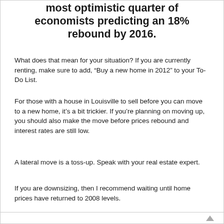most optimistic quarter of economists predicting an 18% rebound by 2016.
What does that mean for your situation? If you are currently renting, make sure to add, “Buy a new home in 2012” to your To-Do List.
For those with a house in Louisville to sell before you can move to a new home, it’s a bit trickier. If you’re planning on moving up, you should also make the move before prices rebound and interest rates are still low.
A lateral move is a toss-up. Speak with your real estate expert.
If you are downsizing, then I recommend waiting until home prices have returned to 2008 levels.
#Louisville home prices